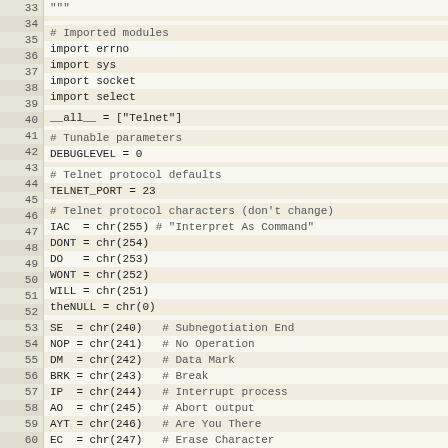Source code listing lines 33-65, showing Python telnet module imports and protocol constants
33: """
34: (empty)
35: (empty)
36: # Imported modules
37: import errno
38: import sys
39: import socket
40: import select
41: (empty)
42: __all__ = ["Telnet"]
43: (empty)
44: # Tunable parameters
45: DEBUGLEVEL = 0
46: (empty)
47: # Telnet protocol defaults
48: TELNET_PORT = 23
49: (empty)
50: # Telnet protocol characters (don't change)
51: IAC  = chr(255) # "Interpret As Command"
52: DONT = chr(254)
53: DO   = chr(253)
54: WONT = chr(252)
55: WILL = chr(251)
56: theNULL = chr(0)
57: (empty)
58: SE  = chr(240)   # Subnegotiation End
59: NOP = chr(241)   # No Operation
60: DM  = chr(242)   # Data Mark
61: BRK = chr(243)   # Break
62: IP  = chr(244)   # Interrupt process
63: AO  = chr(245)   # Abort output
64: AYT = chr(246)   # Are You There
65: EC  = chr(247)   # Erase Character